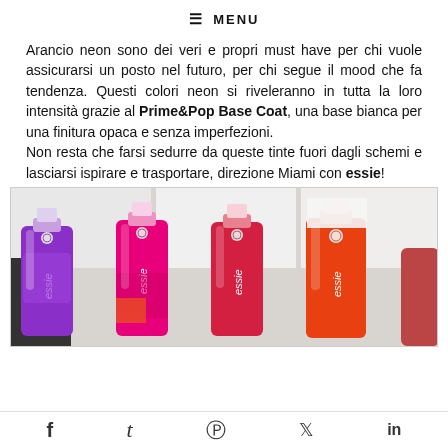≡ MENU
Arancio neon sono dei veri e propri must have per chi vuole assicurarsi un posto nel futuro, per chi segue il mood che fa tendenza. Questi colori neon si riveleranno in tutta la loro intensità grazie al Prime&Pop Base Coat, una base bianca per una finitura opaca e senza imperfezioni.
Non resta che farsi sedurre da queste tinte fuori dagli schemi e lasciarsi ispirare e trasportare, direzione Miami con essie!
[Figure (photo): Four Essie nail polish bottles in purple, hot pink, red, and orange colors displayed on a white surface]
f  t  P  (bird)  in